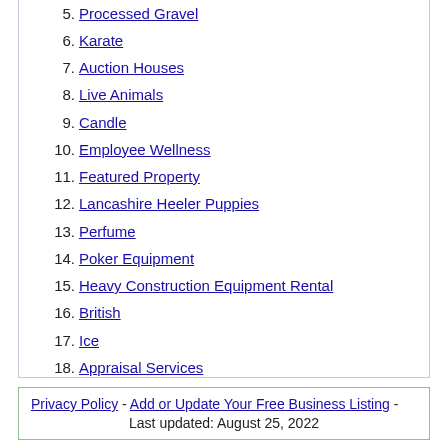5. Processed Gravel
6. Karate
7. Auction Houses
8. Live Animals
9. Candle
10. Employee Wellness
11. Featured Property
12. Lancashire Heeler Puppies
13. Perfume
14. Poker Equipment
15. Heavy Construction Equipment Rental
16. British
17. Ice
18. Appraisal Services
19. Fences Gates
20. Pekingese Puppies
Privacy Policy - Add or Update Your Free Business Listing - Last updated: August 25, 2022